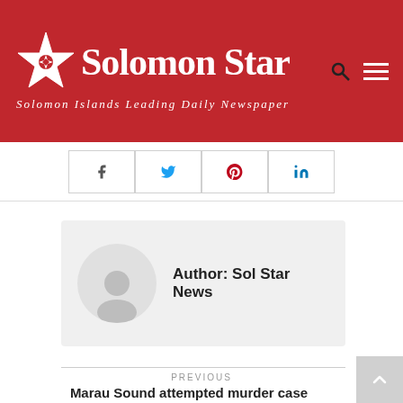[Figure (logo): Solomon Star newspaper logo — red background, white star icon, white bold serif text 'Solomon Star', italic subtitle 'Solomon Islands Leading Daily Newspaper']
[Figure (infographic): Social sharing buttons row: Facebook (f), Twitter bird, Pinterest (P), LinkedIn (in)]
[Figure (infographic): Author box with grey circular avatar placeholder and text 'Author: Sol Star News']
PREVIOUS
Marau Sound attempted murder case